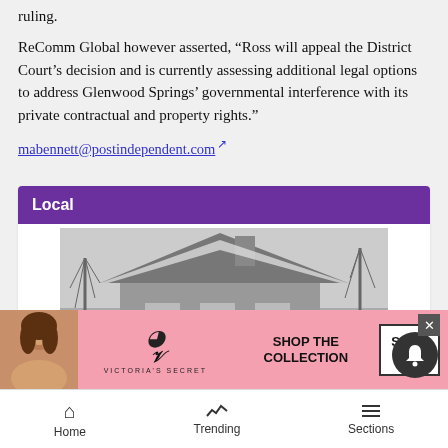ruling.
ReComm Global however asserted, “Ross will appeal the District Court’s decision and is currently assessing additional legal options to address Glenwood Springs’ governmental interference with its private contractual and property rights.”
mabennett@postindependent.com
Local
[Figure (photo): Black and white photograph of a house with a chimney and snow on the roof, surrounded by bare trees.]
[Figure (photo): Victoria's Secret advertisement banner with model, VS logo, 'SHOP THE COLLECTION' text and 'SHOP NOW' button.]
Home   Trending   Sections